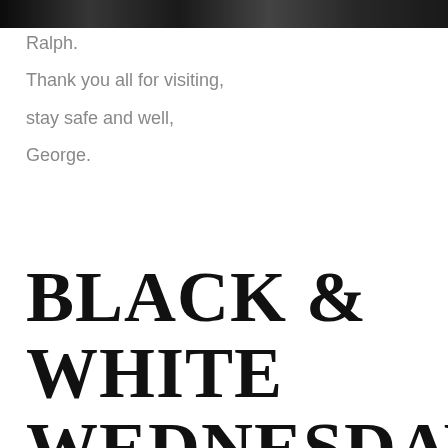[Figure (photo): Black and white photo strip at top of page]
Ralph.
Thank you all for visiting,
stay safe and well,
George.
BLACK & WHITE WEDNESDAY